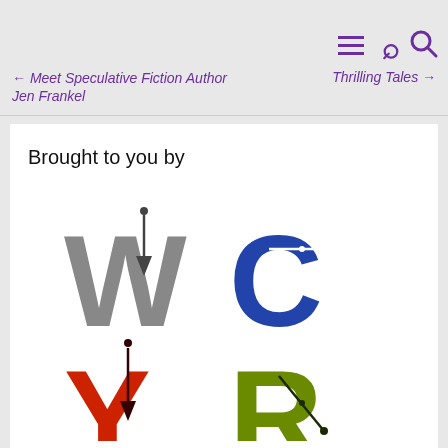← Meet Speculative Fiction Author Jen Frankel    Thrilling Tales →
Brought to you by
[Figure (logo): WCYR logo with four colored letters: W (gray), C (blue), Y (red), R (green/olive), each containing pen/writing nib icons]